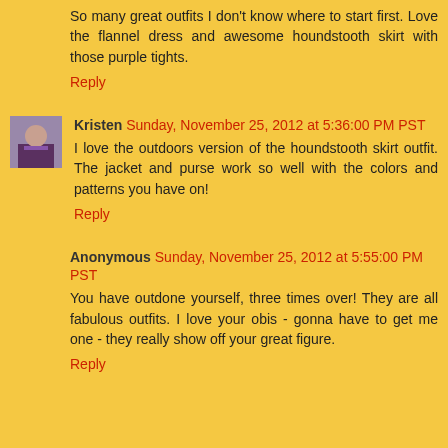So many great outfits I don't know where to start first. Love the flannel dress and awesome houndstooth skirt with those purple tights.
Reply
Kristen Sunday, November 25, 2012 at 5:36:00 PM PST
I love the outdoors version of the houndstooth skirt outfit. The jacket and purse work so well with the colors and patterns you have on!
Reply
Anonymous Sunday, November 25, 2012 at 5:55:00 PM PST
You have outdone yourself, three times over! They are all fabulous outfits. I love your obis - gonna have to get me one - they really show off your great figure.
Reply